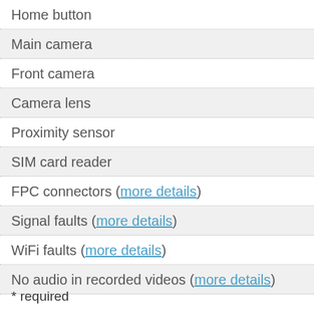Home button
Main camera
Front camera
Camera lens
Proximity sensor
SIM card reader
FPC connectors (more details)
Signal faults (more details)
WiFi faults (more details)
No audio in recorded videos (more details)
* required